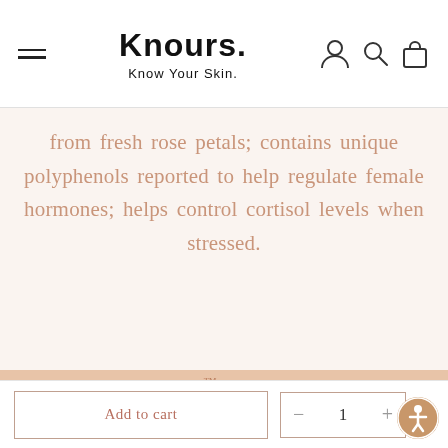Knours. Know Your Skin.
from fresh rose petals; contains unique polyphenols reported to help regulate female hormones; helps control cortisol levels when stressed.
Knours™ Komplex
Our unique, trademarked blend of
Add to cart
- 1 +